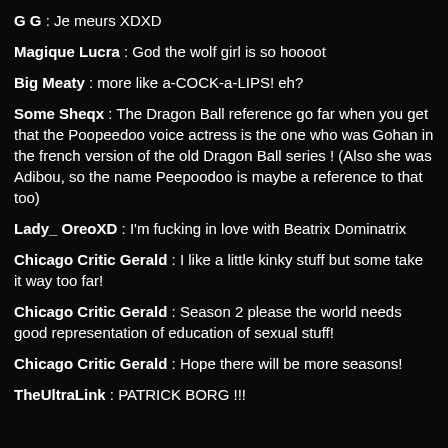G G : Je meurs XDXD
Magique Lucra : God the wolf girl is so hoooot
Big Meaty : more like a-COCK-a-LIPS! eh?
Some Sheqx : The Dragon Ball reference go far when you get that the Poopeedoo voice actress is the one who was Gohan in the french version of the old Dragon Ball series ! (Also she was Adibou, so the name Peepoodoo is maybe a reference to that too)
Lady_ OreoXD : I'm fucking in love with Beatrix Dominatrix
Chicago Critic Gerald : I like a little kinky stuff but some take it way too far!
Chicago Critic Gerald : Season 2 please the world needs good representation of education of sexual stuff!
Chicago Critic Gerald : Hope there will be more seasons!
TheUltraLink : PATRICK BORG !!!